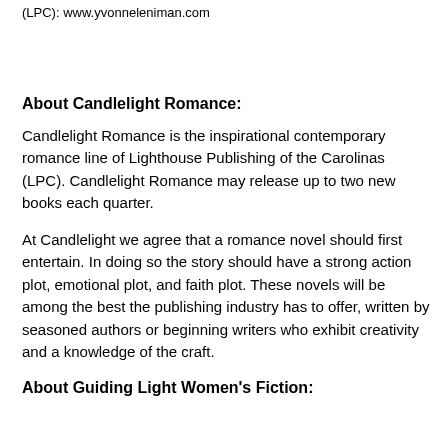(LPC): www.yvonneleniman.com
About Candlelight Romance:
Candlelight Romance is the inspirational contemporary romance line of Lighthouse Publishing of the Carolinas (LPC). Candlelight Romance may release up to two new books each quarter.
At Candlelight we agree that a romance novel should first entertain. In doing so the story should have a strong action plot, emotional plot, and faith plot. These novels will be among the best the publishing industry has to offer, written by seasoned authors or beginning writers who exhibit creativity and a knowledge of the craft.
About Guiding Light Women's Fiction: